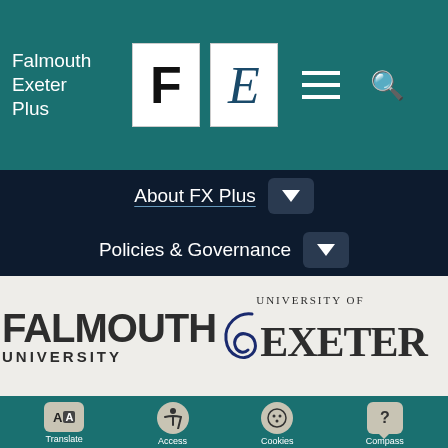Falmouth Exeter Plus
[Figure (logo): FX Plus logo with F and E letters in white boxes on teal header bar with hamburger menu and search icon]
About FX Plus
Policies & Governance
[Figure (logo): Falmouth University and University of Exeter logos side by side on grey background]
Translate | Access | Cookies | Compass Chat